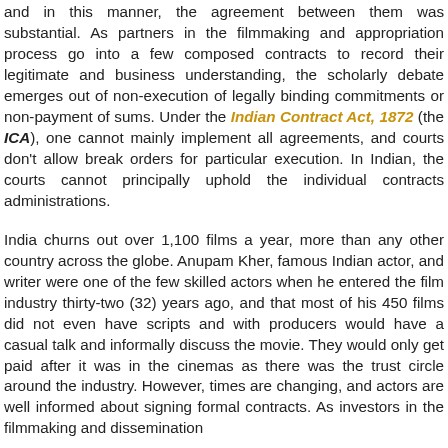and in this manner, the agreement between them was substantial. As partners in the filmmaking and appropriation process go into a few composed contracts to record their legitimate and business understanding, the scholarly debate emerges out of non-execution of legally binding commitments or non-payment of sums. Under the Indian Contract Act, 1872 (the ICA), one cannot mainly implement all agreements, and courts don't allow break orders for particular execution. In Indian, the courts cannot principally uphold the individual contracts administrations.
India churns out over 1,100 films a year, more than any other country across the globe. Anupam Kher, famous Indian actor, and writer were one of the few skilled actors when he entered the film industry thirty-two (32) years ago, and that most of his 450 films did not even have scripts and with producers would have a casual talk and informally discuss the movie. They would only get paid after it was in the cinemas as there was the trust circle around the industry. However, times are changing, and actors are well informed about signing formal contracts. As investors in the filmmaking and dissemination